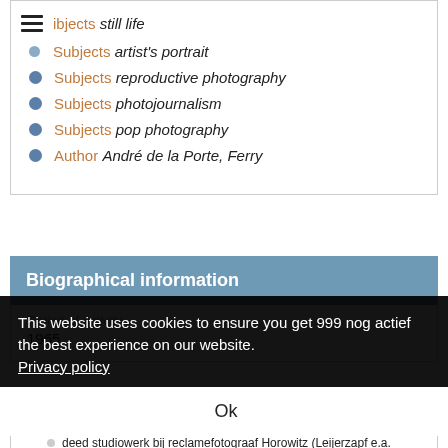ibjects still life
Subjects artist's portrait
Subjects reproductive photography
Subjects photojournalism
Subjects pop photography
Author André de la Porte, Ferry
Biographical information
Period of activity
1965
This website uses cookies to ensure you get the best experience on our website. Privacy policy Ok
Active in
New York City 1969
deed studiowerk bij reclamefotograaf Horowitz (Leijerzapf e.a. 1984 →)
Amsterdam 1976